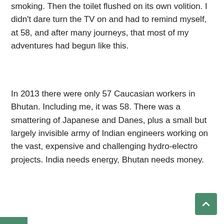smoking. Then the toilet flushed on its own volition. I didn't dare turn the TV on and had to remind myself, at 58, and after many journeys, that most of my adventures had begun like this.
In 2013 there were only 57 Caucasian workers in Bhutan. Including me, it was 58. There was a smattering of Japanese and Danes, plus a small but largely invisible army of Indian engineers working on the vast, expensive and challenging hydro-electro projects. India needs energy, Bhutan needs money.